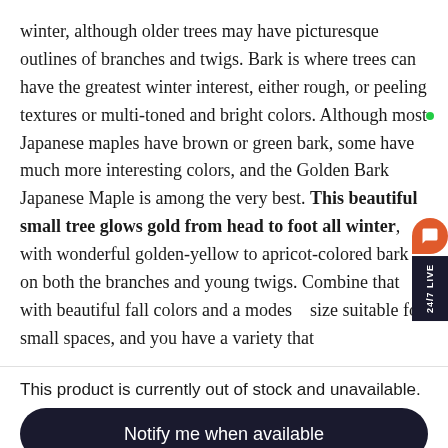winter, although older trees may have picturesque outlines of branches and twigs. Bark is where trees can have the greatest winter interest, either rough, or peeling textures or multi-toned and bright colors. Although most Japanese maples have brown or green bark, some have much more interesting colors, and the Golden Bark Japanese Maple is among the very best. This beautiful small tree glows gold from head to foot all winter, with wonderful golden-yellow to apricot-colored bark on both the branches and young twigs. Combine that with beautiful fall colors and a modest size suitable for small spaces, and you have a variety that
This product is currently out of stock and unavailable.
Notify me when available